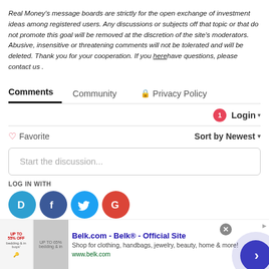Real Money's message boards are strictly for the open exchange of investment ideas among registered users. Any discussions or subjects off that topic or that do not promote this goal will be removed at the discretion of the site's moderators. Abusive, insensitive or threatening comments will not be tolerated and will be deleted. Thank you for your cooperation. If you here have questions, please contact us .
Comments   Community   🔒 Privacy Policy
Login ▾
♡ Favorite    Sort by Newest ▾
Start the discussion...
LOG IN WITH
[Figure (screenshot): Social login icons: Disqus (blue), Facebook (dark blue), Twitter (light blue), Google (red)]
[Figure (screenshot): Advertisement banner: Belk.com - Belk Official Site. Shop for clothing, handbags, jewelry, beauty, home & more! www.belk.com. With product images on the left and a navigation circle on the right.]